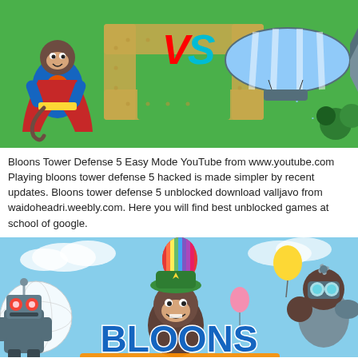[Figure (illustration): Bloons Tower Defense 5 game screenshot showing a monkey superhero character on the left, VS text in the middle, and a blimp balloon on the right, on a green map with sandy paths.]
Bloons Tower Defense 5 Easy Mode YouTube from www.youtube.com Playing bloons tower defense 5 hacked is made simpler by recent updates. Bloons tower defense 5 unblocked download valljavo from waidoheadri.weebly.com. Here you will find best unblocked games at school of google.
[Figure (illustration): Bloons TD game promotional image showing colorful balloons, a monkey character with a hat, another monkey in armor, robot enemy, and large BLOONS text in blue and orange letters on a light blue sky background.]